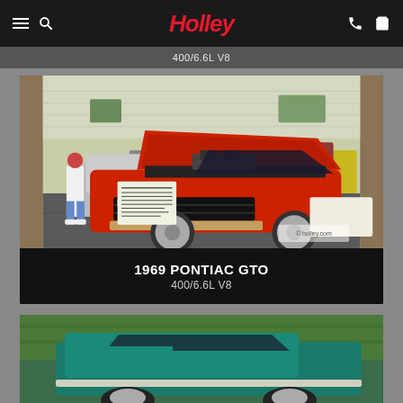Holley (navigation bar with hamburger menu, search, phone, and cart icons)
400/6.6L V8 (partial, top of page)
[Figure (photo): 1969 Pontiac GTO in red with hood open at a car show, parked in a lot with other classic muscle cars and spectators]
1969 PONTIAC GTO
400/6.6L V8
[Figure (photo): Partially visible teal/green convertible classic car at the bottom of the page]